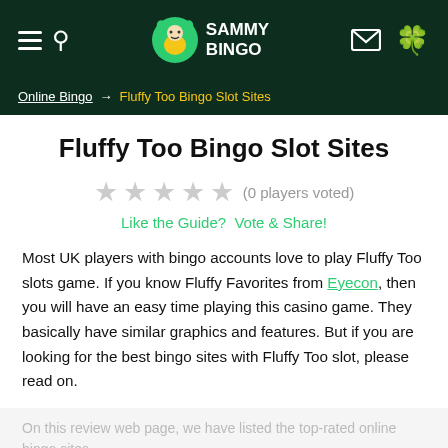SAMMY BINGO
Online Bingo → Fluffy Too Bingo Slot Sites
Fluffy Too Bingo Slot Sites
★★★★★ (0 players voted)
Like the Guide?  Vote & Share!
Most UK players with bingo accounts love to play Fluffy Too slots game. If you know Fluffy Favorites from Eyecon, then you will have an easy time playing this casino game. They basically have similar graphics and features. But if you are looking for the best bingo sites with Fluffy Too slot, please read on.
On this review web page, we have listed the top-rated online bingo sites
READ MORE